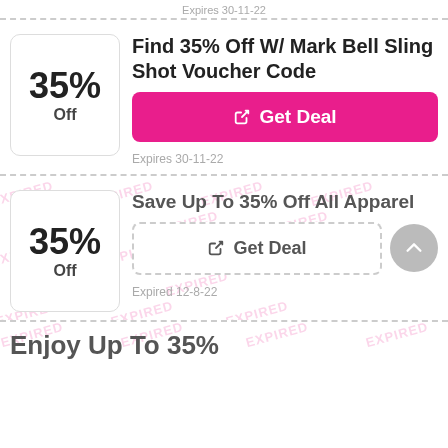Expires 30-11-22
Find 35% Off W/ Mark Bell Sling Shot Voucher Code
Get Deal
Expires 30-11-22
Save Up To 35% Off All Apparel
Get Deal
Expired 12-8-22
Enjoy Up To 35%